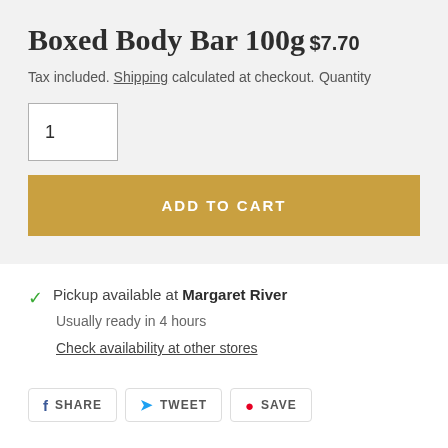Boxed Body Bar 100g
$7.70
Tax included. Shipping calculated at checkout.
Quantity
1
ADD TO CART
Pickup available at Margaret River
Usually ready in 4 hours
Check availability at other stores
SHARE  TWEET  SAVE